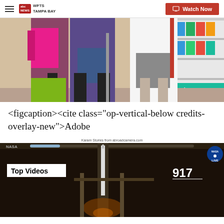WFTS TAMPA BAY | Watch Now
[Figure (photo): Children with backpacks standing in a store aisle, school supplies visible]
<figcaption><cite class="op-vertical-below credits-overlay-new">Adobe
Karam Stories from abroadcamera.com
[Figure (screenshot): NASA live stream showing a rocket on launchpad with overlay text 'Top Videos' and counter '917']